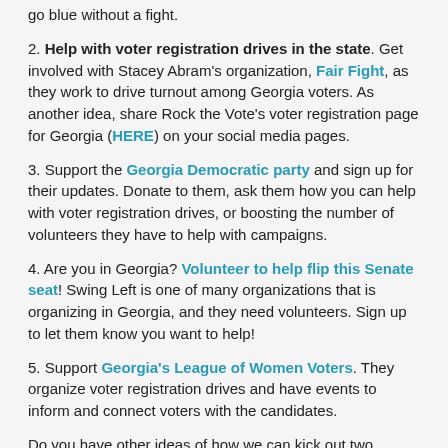go blue without a fight.
2. Help with voter registration drives in the state. Get involved with Stacey Abram's organization, Fair Fight, as they work to drive turnout among Georgia voters. As another idea, share Rock the Vote's voter registration page for Georgia (HERE) on your social media pages.
3. Support the Georgia Democratic party and sign up for their updates. Donate to them, ask them how you can help with voter registration drives, or boosting the number of volunteers they have to help with campaigns.
4. Are you in Georgia? Volunteer to help flip this Senate seat! Swing Left is one of many organizations that is organizing in Georgia, and they need volunteers. Sign up to let them know you want to help!
5. Support Georgia's League of Women Voters. They organize voter registration drives and have events to inform and connect voters with the candidates.
Do you have other ideas of how we can kick out two...